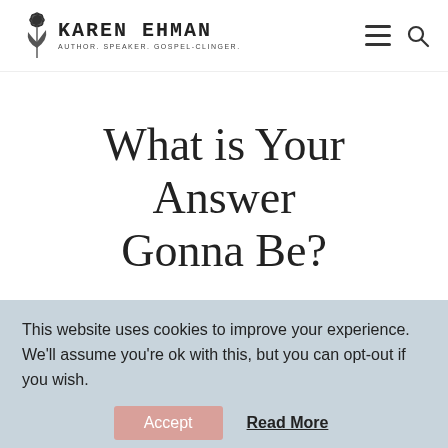KAREN EHMAN AUTHOR. SPEAKER. GOSPEL-CLINGER.
What is Your Answer Gonna Be?
March 9, 2009
This website uses cookies to improve your experience. We'll assume you're ok with this, but you can opt-out if you wish.
Accept   Read More